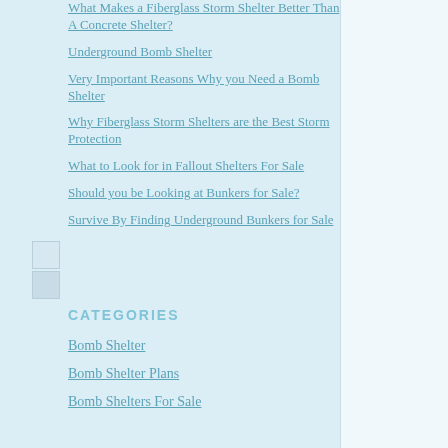What Makes a Fiberglass Storm Shelter Better Than A Concrete Shelter?
Underground Bomb Shelter
Very Important Reasons Why you Need a Bomb Shelter
Why Fiberglass Storm Shelters are the Best Storm Protection
What to Look for in Fallout Shelters For Sale
Should you be Looking at Bunkers for Sale?
Survive By Finding Underground Bunkers for Sale
CATEGORIES
Bomb Shelter
Bomb Shelter Plans
Bomb Shelters For Sale